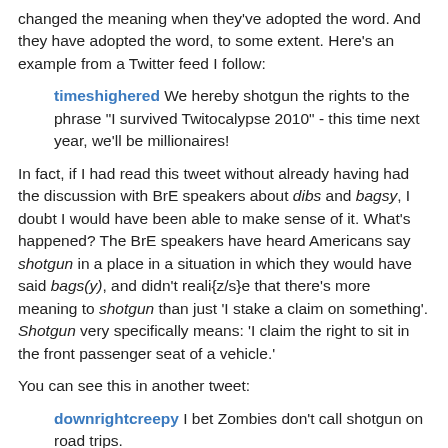changed the meaning when they've adopted the word.  And they have adopted the word, to some extent.  Here's an example from a Twitter feed I follow:
timeshighered We hereby shotgun the rights to the phrase "I survived Twitocalypse 2010" - this time next year, we'll be millionaires!
In fact, if I had read this tweet without already having had the discussion with BrE speakers about dibs and bagsy, I doubt I would have been able to make sense of it.  What's happened? The BrE speakers have heard Americans say shotgun in a place in a situation in which they would have said bags(y), and didn't reali{z/s}e that there's more meaning to shotgun than just 'I stake a claim on something'.   Shotgun very specifically means: 'I claim the right to sit in the front passenger seat of a vehicle.'
You can see this in another tweet:
downrightcreepy I bet Zombies don't call shotgun on road trips.